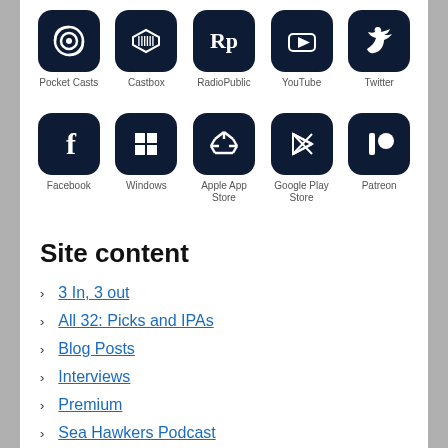[Figure (infographic): Row of 5 dark navy app/platform icons with labels: Pocket Casts, Castbox, RadioPublic, YouTube, Twitter]
[Figure (infographic): Row of 5 dark navy app/platform icons with labels: Facebook, Windows, Apple App Store, Google Play Store, Patreon]
Site content
3 In, 3 out
All 32: Picks and IPAs
Blog Posts
Interviews
Premium
Sea Hawkers Podcast